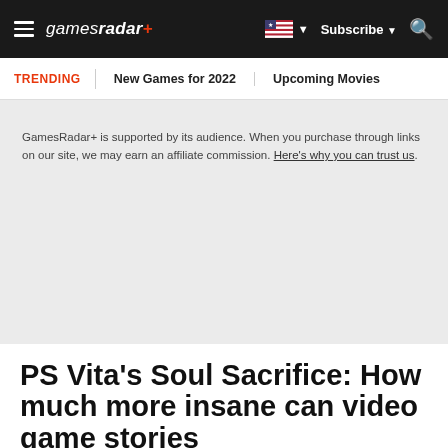gamesradar+ | Subscribe | Search
TRENDING   New Games for 2022   Upcoming Movies
GamesRadar+ is supported by its audience. When you purchase through links on our site, we may earn an affiliate commission. Here's why you can trust us.
PS Vita's Soul Sacrifice: How much more insane can video game stories